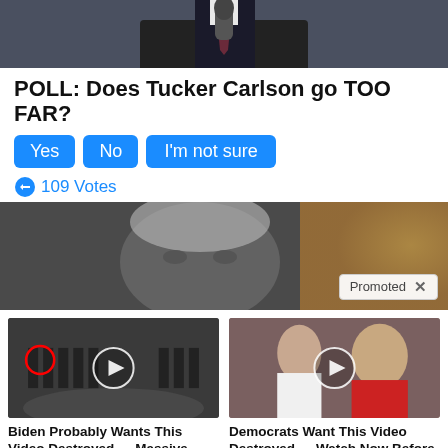[Figure (photo): Top portion of a man in a dark suit holding a microphone, cropped at top]
POLL: Does Tucker Carlson go TOO FAR?
Yes | No | I'm not sure
109 Votes
[Figure (photo): Close-up of a grey-haired man's face, with a Promoted badge overlay]
[Figure (photo): Group of men in suits at CIA logo floor, with red circle highlighting one person and a play button]
Biden Probably Wants This Video Destroyed — Massive Currency Upheaval Has Started
101,548
[Figure (photo): Woman and man (Melania and Donald Trump) with a play button overlay]
Democrats Want This Video Destroyed — Watch Now Before It's Banned
177,516